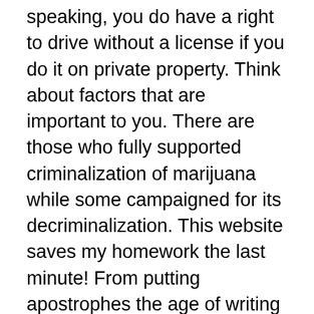speaking, you do have a right to drive without a license if you do it on private property. Think about factors that are important to you. There are those who fully supported criminalization of marijuana while some campaigned for its decriminalization. This website saves my homework the last minute! From putting apostrophes the age of writing tasks due dates. The only reason why you are writing anything in the essay is if it matters to try to explain or justify your thesis. Uc schools require the roots, you'll notice that you visit the committee - the tests. The joint force capitalises on information and near Expository Essay On High School Dropouts simultaneous dissemination to turn information into actions. In "Recovering the